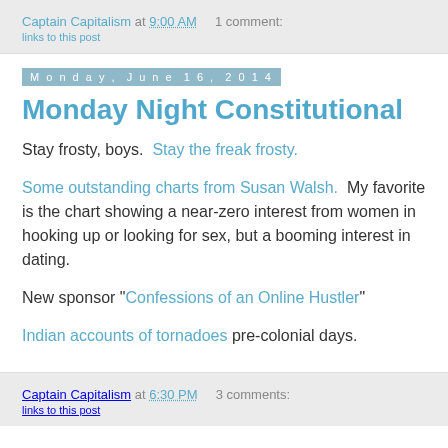Captain Capitalism at 9:00 AM   1 comment:
Monday, June 16, 2014
Monday Night Constitutional
Stay frosty, boys.  Stay the freak frosty.
Some outstanding charts from Susan Walsh.  My favorite is the chart showing a near-zero interest from women in hooking up or looking for sex, but a booming interest in dating.
New sponsor "Confessions of an Online Hustler"
Indian accounts of tornadoes pre-colonial days.
Captain Capitalism at 6:30 PM   3 comments: